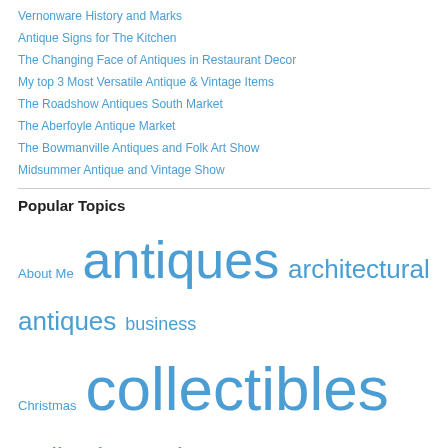Vernonware History and Marks
Antique Signs for The Kitchen
The Changing Face of Antiques in Restaurant Decor
My top 3 Most Versatile Antique & Vintage Items
The Roadshow Antiques South Market
The Aberfoyle Antique Market
The Bowmanville Antiques and Folk Art Show
Midsummer Antique and Vintage Show
Popular Topics
About Me antiques architectural antiques business Christmas collectibles Collecting Antiques decorations Flea Market gift ideas kitsch mid century modern RCMP shopping tips Toronto Vernonware